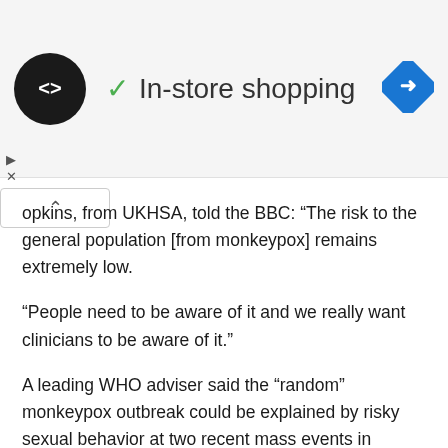[Figure (other): Advertisement banner with circular black logo containing double arrow symbol, green checkmark and 'In-store shopping' text, and blue diamond navigation arrow icon on the right]
opkins, from UKHSA, told the BBC: “The risk to the general population [from monkeypox] remains extremely low.
“People need to be aware of it and we really want clinicians to be aware of it.”
A leading WHO adviser said the “random” monkeypox outbreak could be explained by risky sexual behavior at two recent mass events in Europe.
A Gay Pride festival in Gran Canaria – attended by 80,000 people – has been linked to a number of cases in Madrid, Tenerife and Italy.